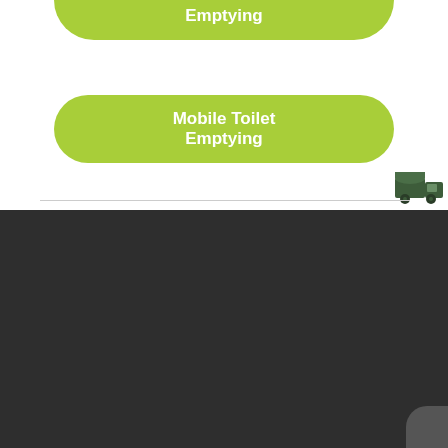[Figure (infographic): Green rounded rectangle button with white bold text reading 'Emptying' (partial, cropped at top)]
[Figure (infographic): Green rounded rectangle button with white bold text reading 'Mobile Toilet Emptying']
[Figure (illustration): Small dark green truck icon on the right side]
Our Services
Septic Tank Emptying
Treatment Plant Emptying
Cesspit Emptying
Pump Chamber Emptying
Mobile Toilet Emptying
Grease Trap Emptying